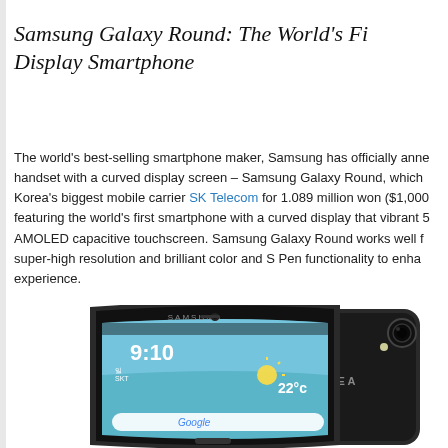Samsung Galaxy Round: The World's Fi... Display Smartphone
The world's best-selling smartphone maker, Samsung has officially anne... handset with a curved display screen – Samsung Galaxy Round, which... Korea's biggest mobile carrier SK Telecom for 1.089 million won ($1,000... featuring the world's first smartphone with a curved display that vibrant 5... AMOLED capacitive touchscreen. Samsung Galaxy Round works well f... super-high resolution and brilliant color and S Pen functionality to enha... experience.
[Figure (photo): Samsung Galaxy Round smartphone shown from front (displaying 9:10 time, weather 22°C, Google search bar) and back (showing LTE A branding and camera). The device has a curved display and dark metallic design.]